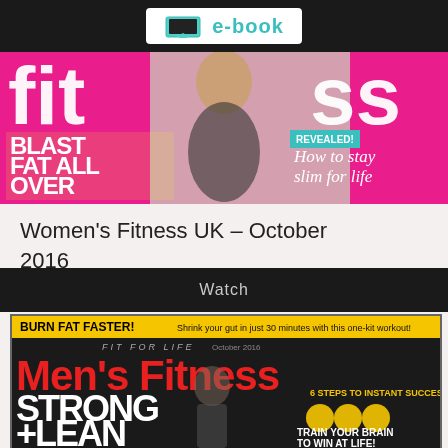e-book
[Figure (photo): Women's Fitness UK magazine cover showing a blonde woman with text BLAST FAT ALL OVER and How to stay slim for life]
Women's Fitness UK – October 2016
Watch
[Figure (photo): Men's Fitness magazine cover with BURN FAT FASTER headline, Men's Fitness logo in red, STRONG + LEAN text, male model, and TRAIN YOUR BRAIN TO WIN AT LIFE subtitle]